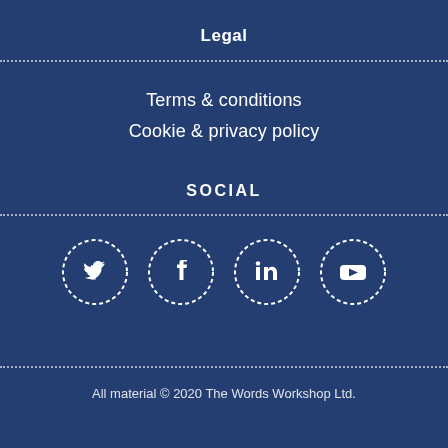Legal
Terms & conditions
Cookie & privacy policy
SOCIAL
[Figure (illustration): Four social media icon circles with dotted borders: Twitter, Facebook, LinkedIn, YouTube]
All material © 2020 The Words Workshop Ltd.